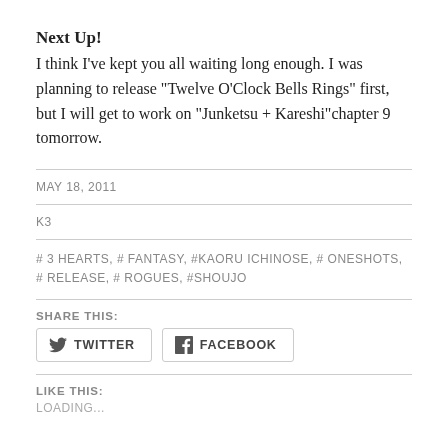Next Up!
I think I've kept you all waiting long enough.  I was planning to release “Twelve O’Clock Bells Rings” first, but I will get to work on “Junketsu + Kareshi”chapter 9 tomorrow.
MAY 18, 2011
K3
# 3 HEARTS, # FANTASY, #KAORU ICHINOSE, # ONESHOTS, # RELEASE, # ROGUES, #SHOUJO
SHARE THIS:
TWITTER   FACEBOOK
LIKE THIS:
LOADING...